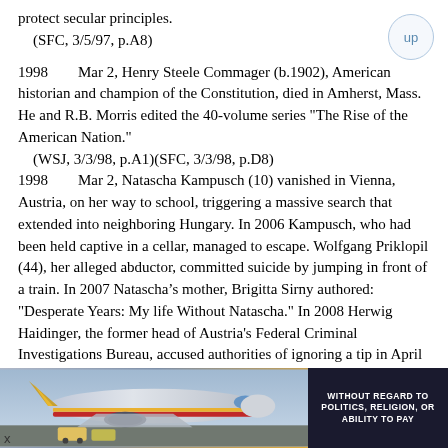protect secular principles.
    (SFC, 3/5/97, p.A8)
1998        Mar 2, Henry Steele Commager (b.1902), American historian and champion of the Constitution, died in Amherst, Mass. He and R.B. Morris edited the 40-volume series "The Rise of the American Nation."
    (WSJ, 3/3/98, p.A1)(SFC, 3/3/98, p.D8)
1998        Mar 2, Natascha Kampusch (10) vanished in Vienna, Austria, on her way to school, triggering a massive search that extended into neighboring Hungary. In 2006 Kampusch, who had been held captive in a cellar, managed to escape. Wolfgang Priklopil (44), her alleged abductor, committed suicide by jumping in front of a train. In 2007 Natascha’s mother, Brigitta Sirny authored: "Desperate Years: My life Without Natascha." In 2008 Herwig Haidinger, the former head of Austria's Federal Criminal Investigations Bureau, accused authorities of ignoring a tip in April 1998 from a local
[Figure (photo): Advertisement showing an airplane with colorful livery and text reading 'WITHOUT REGARD TO POLITICS, RELIGION, OR ABILITY TO PAY']